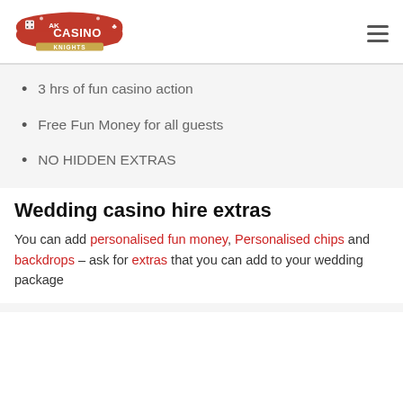AK Casino Knights
3 hrs of fun casino action
Free Fun Money for all guests
NO HIDDEN EXTRAS
Wedding casino hire extras
You can add personalised fun money, Personalised chips and backdrops – ask for extras that you can add to your wedding package